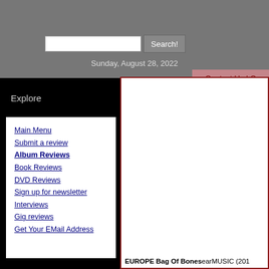Sunday, August 28, 2022
Search! | Contact Us
Explore
Main Menu
Submit a review
Album Reviews
Book Reviews
DVD Reviews
Sign up for newsletter
Interviews
Gig reviews
Get Your EMail Address
EUROPE Bag Of Bones earMUSIC (201...